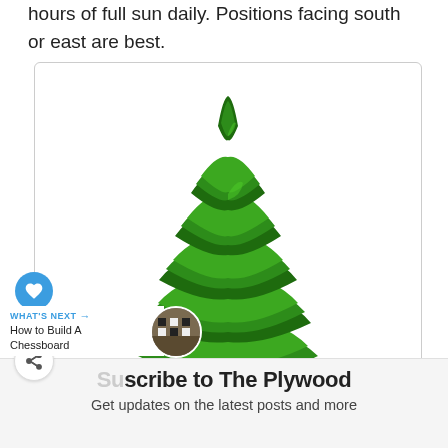hours of full sun daily. Positions facing south or east are best.
[Figure (illustration): A stylized 3D rendered evergreen/pine tree with dark green layered branches and a brown trunk, set against a white background inside a bordered box.]
WHAT'S NEXT → How to Build A Chessboard
scribe to The Plywood
Get updates on the latest posts and more